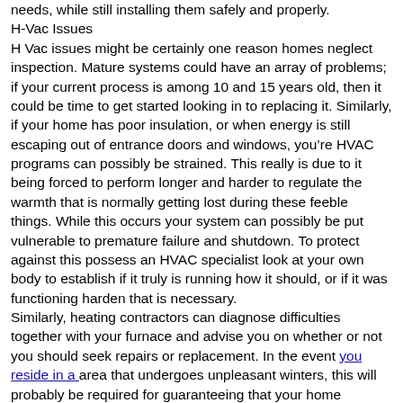needs, while still installing them safely and properly.
H-Vac Issues
H Vac issues might be certainly one reason homes neglect inspection. Mature systems could have an array of problems; if your current process is among 10 and 15 years old, then it could be time to get started looking in to replacing it. Similarly, if your home has poor insulation, or when energy is still escaping out of entrance doors and windows, you’re HVAC programs can possibly be strained. This really is due to it being forced to perform longer and harder to regulate the warmth that is normally getting lost during these feeble things. While this occurs your system can possibly be put vulnerable to premature failure and shutdown. To protect against this possess an HVAC specialist look at your own body to establish if it truly is running how it should, or if it was functioning harden that is necessary.
Similarly, heating contractors can diagnose difficulties together with your furnace and advise you on whether or not you should seek repairs or replacement. In the event you reside in a area that undergoes unpleasant winters, this will probably be required for guaranteeing that your home remains as cozy and as marketable as possible.